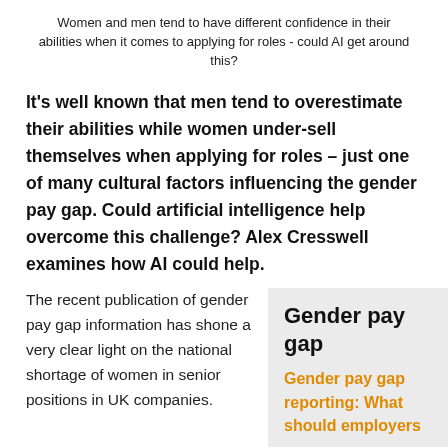Women and men tend to have different confidence in their abilities when it comes to applying for roles - could AI get around this?
It’s well known that men tend to overestimate their abilities while women under-sell themselves when applying for roles – just one of many cultural factors influencing the gender pay gap. Could artificial intelligence help overcome this challenge? Alex Cresswell examines how AI could help.
The recent publication of gender pay gap information has shone a very clear light on the national shortage of women in senior positions in UK companies.
Gender pay gap
Gender pay gap reporting: What should employers